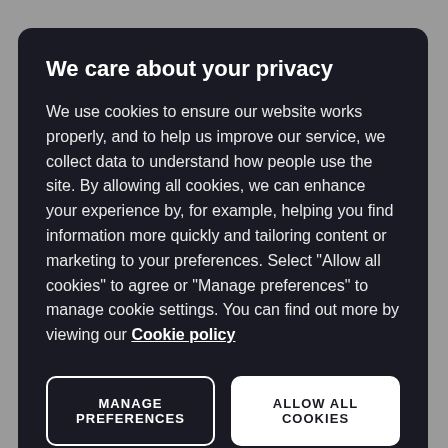energy mix. Now they need to go the extra mile and invest a greater percentage of their annual capex in the renewables side of their business, and steal a march on their US counterparts who appear to be asleep at the
We care about your privacy
We use cookies to ensure our website works properly, and to help us improve our service, we collect data to understand how people use the site. By allowing all cookies, we can enhance your experience by, for example, helping you find information more quickly and tailoring content or marketing to your preferences. Select “Allow all cookies” to agree or “Manage preferences” to manage cookie settings. You can find out more by viewing our Cookie policy
MANAGE PREFERENCES
ALLOW ALL COOKIES